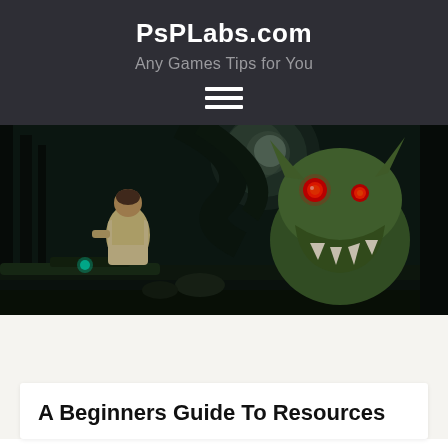PsPLabs.com
Any Games Tips for You
[Figure (screenshot): Screenshot of a dark fantasy action video game scene showing a warrior character facing a large green monster with red glowing eyes in a dark forest environment with moon in background]
A Beginners Guide To Resources